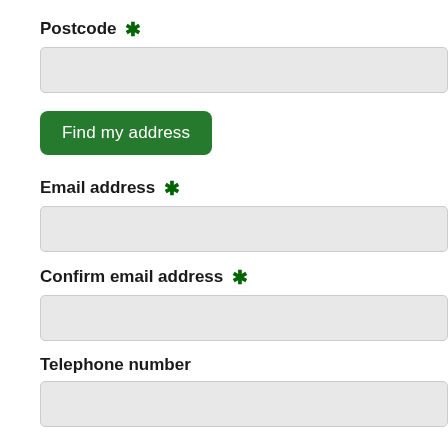Postcode *
[Figure (screenshot): Empty text input field for postcode]
[Figure (screenshot): Green button labeled 'Find my address']
Email address *
[Figure (screenshot): Empty text input field for email address]
Confirm email address *
[Figure (screenshot): Empty text input field for confirm email address]
Telephone number
[Figure (screenshot): Empty text input field for telephone number]